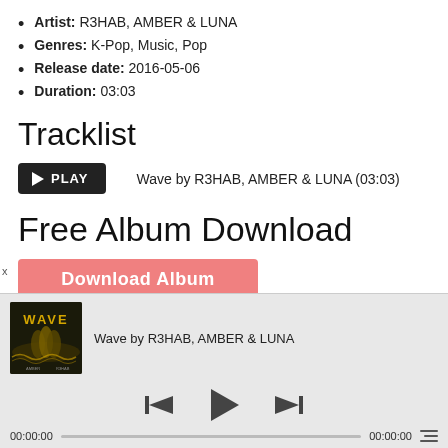Artist: R3HAB, AMBER & LUNA
Genres: K-Pop, Music, Pop
Release date: 2016-05-06
Duration: 03:03
Tracklist
▶ PLAY   Wave by R3HAB, AMBER & LUNA (03:03)
Free Album Download
Download Album
[Figure (screenshot): Music player bar showing album art for WAVE by R3HAB, playback controls (previous, play, next), timeline showing 00:00:00 on both ends, and track title 'Wave by R3HAB, AMBER & LUNA']